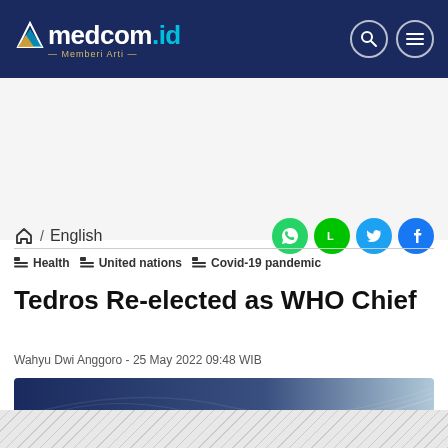medcom.id — Memberi Arti
🏠 / English
🏷 Health   🏷 United nations   🏷 Covid-19 pandemic
Tedros Re-elected as WHO Chief
Wahyu Dwi Anggoro - 25 May 2022 09:48 WIB
[Figure (photo): Abstract blue gradient background with light streaks/curves — article header image]